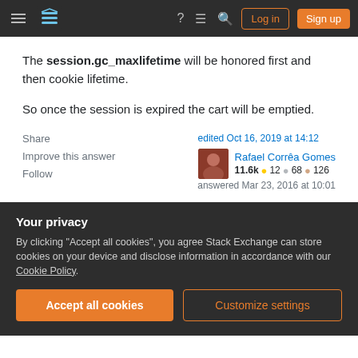Stack Exchange navigation bar with Log in and Sign up buttons
The session.gc_maxlifetime will be honored first and then cookie lifetime.
So once the session is expired the cart will be emptied.
Share | Improve this answer | Follow
edited Oct 16, 2019 at 14:12
Rafael Corrêa Gomes
11.6k ○12 ○68 ○126
answered Mar 23, 2016 at 10:01
Your privacy
By clicking "Accept all cookies", you agree Stack Exchange can store cookies on your device and disclose information in accordance with our Cookie Policy.
Accept all cookies | Customize settings